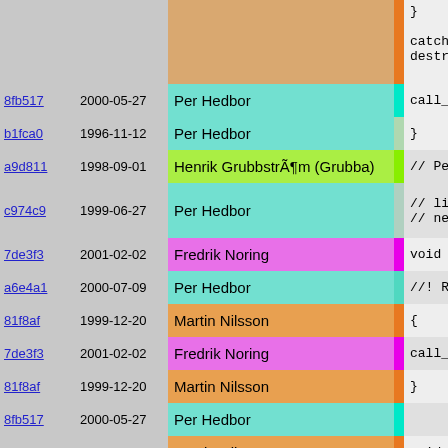| hash | date | author | bar | code |
| --- | --- | --- | --- | --- |
|  |  |  |  | }  catch(st destruct |
| 8fb517 | 2000-05-27 | Per Hedbor |  | call_out |
| b1fca0 | 1996-11-12 | Per Hedbor |  | } |
| a9d811 | 1998-09-01 | Henrik Grubbström (Grubba) |  | // Perhaps |
| c974c9 | 1999-06-27 | Per Hedbor |  | // listen // new cop |
| 7de3f3 | 2001-02-02 | Fredrik Noring |  | void resta |
| a6e4a1 | 2000-07-09 | Per Hedbor |  | //! Restar |
| 81f8af | 1999-12-20 | Martin Nilsson |  | { |
| 7de3f3 | 2001-02-02 | Fredrik Noring |  | call_out |
| 81f8af | 1999-12-20 | Martin Nilsson |  | } |
| 8fb517 | 2000-05-27 | Per Hedbor |  |  |
| 81f8af | 1999-12-20 | Martin Nilsson |  | void shutd |
| a6e4a1 | 2000-07-09 | Per Hedbor |  | //! Shut d |
| 81f8af | 1999-12-20 | Martin Nilsson |  | {  call_out |